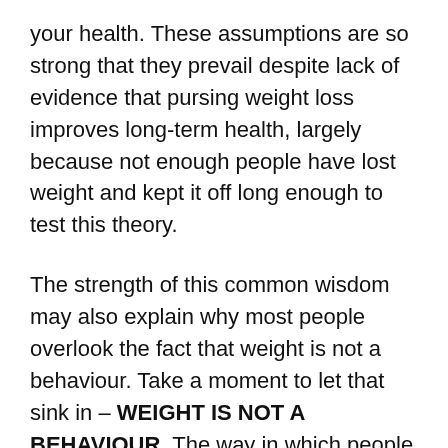your health. These assumptions are so strong that they prevail despite lack of evidence that pursing weight loss improves long-term health, largely because not enough people have lost weight and kept it off long enough to test this theory.
The strength of this common wisdom may also explain why most people overlook the fact that weight is not a behaviour. Take a moment to let that sink in – WEIGHT IS NOT A BEHAVIOUR. The way in which people can influence their health, is through behaviours. Focusing on weight distracts from the actual behaviour change and the weight loss often takes the credit for health improvements when the actual change was lifestyle driven.